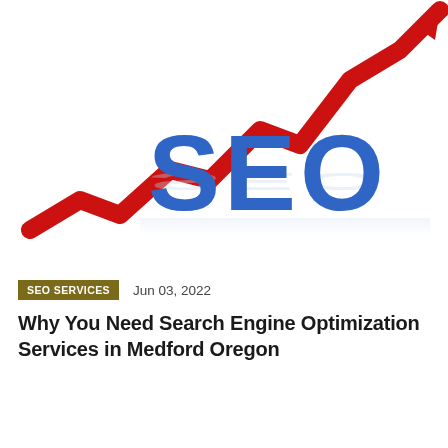[Figure (illustration): 3D illustration showing the word 'SEO' in large bold blue letters with a red zigzag upward-trending arrow behind it, on a white background with subtle reflection.]
SEO SERVICES   Jun 03, 2022
Why You Need Search Engine Optimization Services in Medford Oregon